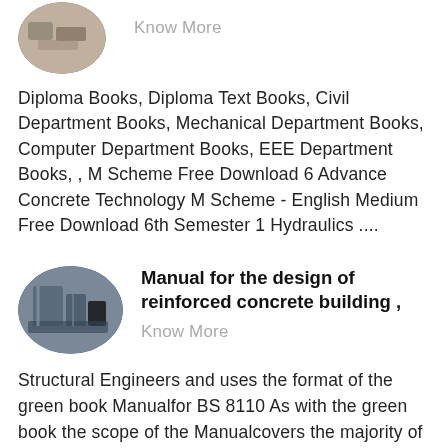[Figure (photo): Partial oval/circle thumbnail image at top left, showing construction/engineering machinery or rocks, cropped at top of page]
Know More
Diploma Books, Diploma Text Books, Civil Department Books, Mechanical Department Books, Computer Department Books, EEE Department Books, , M Scheme Free Download 6 Advance Concrete Technology M Scheme - English Medium Free Download 6th Semester 1 Hydraulics ....
[Figure (photo): Oval thumbnail image showing construction equipment/reinforced concrete building machinery, industrial setting]
Manual for the design of reinforced concrete building ,
Know More
Structural Engineers and uses the format of the green book Manualfor BS 8110 As with the green book the scope of the Manualcovers the majority of concrete building structures and has now been extended to cover slender columns and prestressed concrete An appen-dix for the structural design of foundations